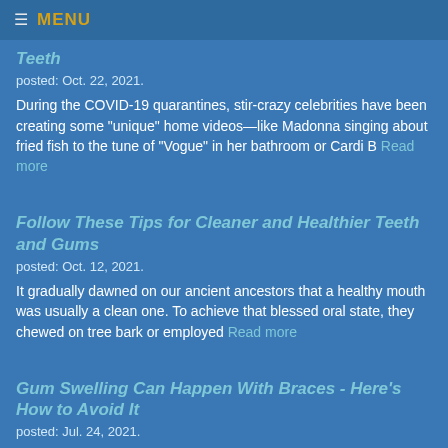≡ MENU
Teeth
posted: Oct. 22, 2021.
During the COVID-19 quarantines, stir-crazy celebrities have been creating some "unique" home videos—like Madonna singing about fried fish to the tune of "Vogue" in her bathroom or Cardi B Read more
Follow These Tips for Cleaner and Healthier Teeth and Gums
posted: Oct. 12, 2021.
It gradually dawned on our ancient ancestors that a healthy mouth was usually a clean one. To achieve that blessed oral state, they chewed on tree bark or employed Read more
Gum Swelling Can Happen With Braces - Here's How to Avoid It
posted: Jul. 24, 2021.